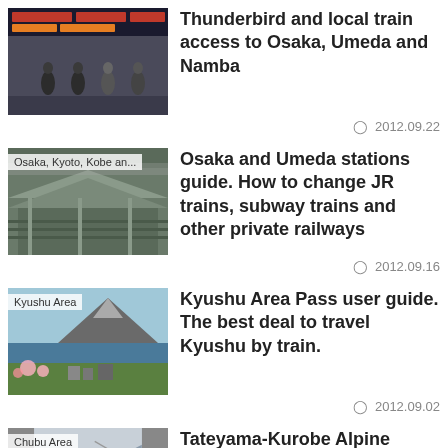[Figure (photo): Interior of a train station with commuters and departure boards overhead]
Thunderbird and local train access to Osaka, Umeda and Namba
2012.09.22
[Figure (photo): Osaka train station aerial view with multiple tracks and platforms, labeled Osaka, Kyoto, Kobe an...]
Osaka and Umeda stations guide. How to change JR trains, subway trains and other private railways
2012.09.16
[Figure (photo): Kyushu Area landscape with a volcano mountain and cherry blossoms near water]
Kyushu Area Pass user guide. The best deal to travel Kyushu by train.
2012.09.02
[Figure (photo): Chubu Area aerial mountain landscape]
Tateyama-Kurobe Alpine Route, one of most spectacular